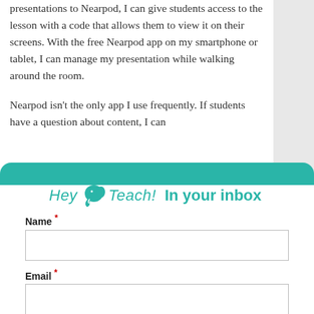presentations to Nearpod, I can give students access to the lesson with a code that allows them to view it on their screens. With the free Nearpod app on my smartphone or tablet, I can manage my presentation while walking around the room.
Nearpod isn't the only app I use frequently. If students have a question about content, I can
[Figure (other): Hey Teach! logo with elephant icon and 'In your inbox' newsletter signup heading in teal]
Name *
Email *
Submit
No thanks. Continue to Hey Teach!